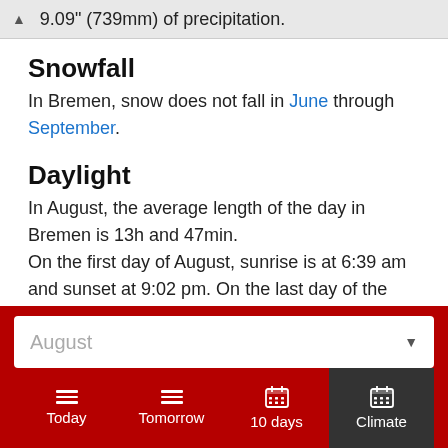9.09" (739mm) of precipitation.
Snowfall
In Bremen, snow does not fall in June through September.
Daylight
In August, the average length of the day in Bremen is 13h and 47min.
On the first day of August, sunrise is at 6:39 am and sunset at 9:02 pm. On the last day of the month,
August
Today
Tomorrow
10 days
Climate